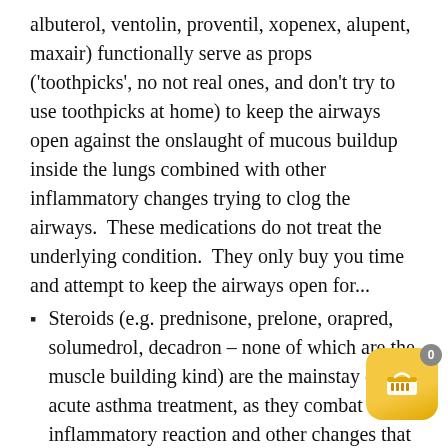albuterol, ventolin, proventil, xopenex, alupent, maxair) functionally serve as props ('toothpicks', no not real ones, and don't try to use toothpicks at home) to keep the airways open against the onslaught of mucous buildup inside the lungs combined with other inflammatory changes trying to clog the airways.  These medications do not treat the underlying condition.  They only buy you time and attempt to keep the airways open for...
Steroids (e.g. prednisone, prelone, orapred, solumedrol, decadron – none of which are the muscle building kind) are the mainstay of acute asthma treatment, as they combat the inflammatory reaction and other changes that cause the asthma attack.  One can functionally think of steroids as a dump truck moving in to scoop the snot out of the...